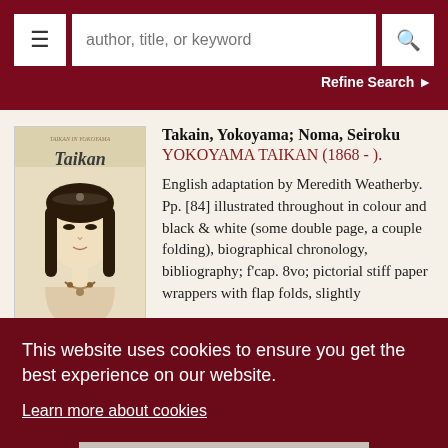author, title, or keyword | Refine Search
[Figure (photo): Book cover of 'Taikan' showing a portrait of a Japanese woman with dark hair, a headpiece, and necklace against a light background. Text at top reads 'Taikan' in stylized script.]
Takain, Yokoyama; Noma, Seiroku
YOKOYAMA TAIKAN (1868 - ).
English adaptation by Meredith Weatherby. Pp. [84] illustrated throughout in colour and black & white (some double page, a couple folding), biographical chronology, bibliography; f'cap. 8vo; pictorial stiff paper wrappers with flap folds, slightly
This website uses cookies to ensure you get the best experience on our website.
Learn more about cookies
ACCEPT COOKIES